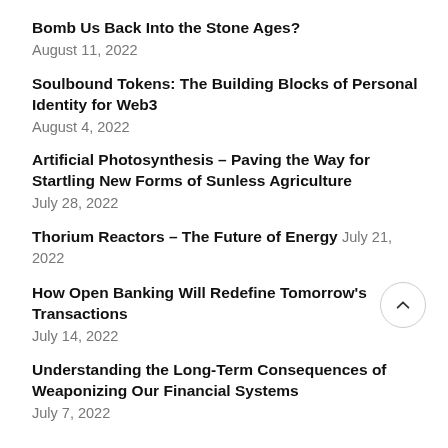Bomb Us Back Into the Stone Ages?
August 11, 2022
Soulbound Tokens: The Building Blocks of Personal Identity for Web3
August 4, 2022
Artificial Photosynthesis – Paving the Way for Startling New Forms of Sunless Agriculture
July 28, 2022
Thorium Reactors – The Future of Energy July 21, 2022
How Open Banking Will Redefine Tomorrow's Transactions
July 14, 2022
Understanding the Long-Term Consequences of Weaponizing Our Financial Systems
July 7, 2022